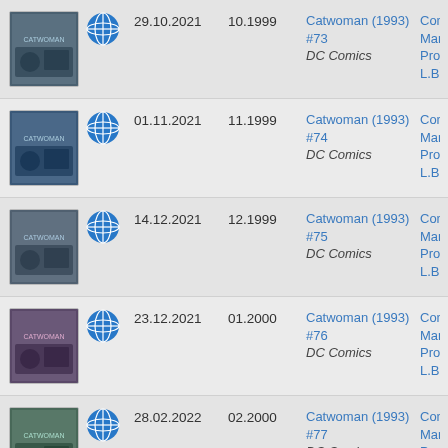| Thumbnail | Globe | Date | Cover Date | Title | Source |
| --- | --- | --- | --- | --- | --- |
| [img] | [globe] | 29.10.2021 | 10.1999 | Catwoman (1993) #73
DC Comics | Comics Maniac
Project
L.B.S. |
| [img] | [globe] | 01.11.2021 | 11.1999 | Catwoman (1993) #74
DC Comics | Comics Maniac
Project
L.B.S. |
| [img] | [globe] | 14.12.2021 | 12.1999 | Catwoman (1993) #75
DC Comics | Comics Maniac
Project
L.B.S. |
| [img] | [globe] | 23.12.2021 | 01.2000 | Catwoman (1993) #76
DC Comics | Comics Maniac
Project
L.B.S. |
| [img] | [globe] | 28.02.2022 | 02.2000 | Catwoman (1993) #77
DC Comics | Comics
Maniac
Project |